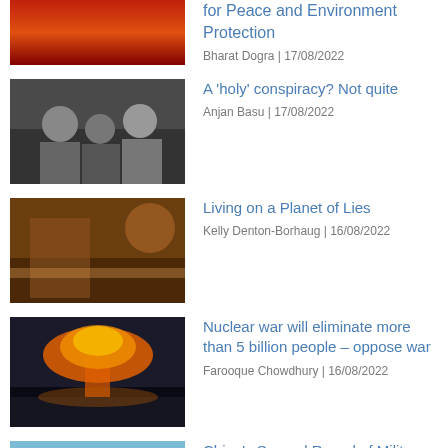[Figure (photo): Dark reddish fire/explosion image (partial, top of page)]
for Peace and Environment Protection
Bharat Dogra | 17/08/2022
[Figure (photo): Group of people at a meeting or gathering]
A 'holy' conspiracy? Not quite
Anjan Basu | 17/08/2022
[Figure (photo): People with flags or similar scene]
Living on a Planet of Lies
Kelly Denton-Borhaug | 16/08/2022
[Figure (photo): Nuclear explosion mushroom cloud over water]
Nuclear war will eliminate more than 5 billion people – oppose war
Farooque Chowdhury | 16/08/2022
[Figure (photo): Helicopter over water near Taiwan]
China's Second Round of Military Drills Near Taiwan After More U.S. Lawmakers Visit The Island
Countercurrents Collective | 16/08/2022